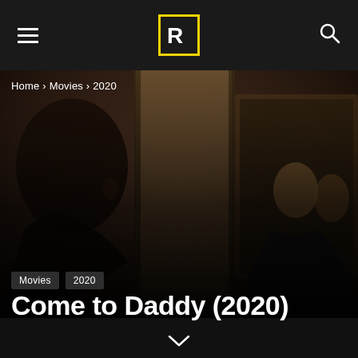Rotten Tomatoes navigation bar with hamburger menu, logo, and search icon
Home › Movies › 2020
[Figure (photo): Movie still from Come to Daddy (2020): a man viewed from behind on the left side facing a mirror on the right showing reflections of two men, set in a warm brown interior]
Movies  2020
Come to Daddy (2020)